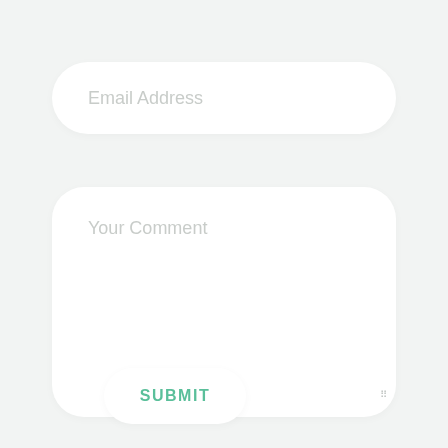[Figure (screenshot): Email address input field — a wide pill-shaped white input box with placeholder text 'Email Address' in light gray]
[Figure (screenshot): Comment textarea — a large rounded rectangle white box with placeholder text 'Your Comment' in light gray and a resize handle in the bottom-right corner]
[Figure (screenshot): Submit button — a rounded white pill button with the text 'SUBMIT' in teal/green uppercase letters]